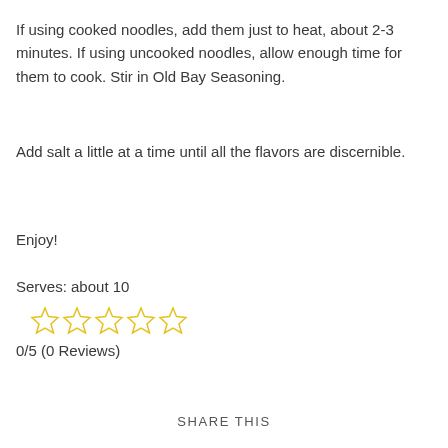If using cooked noodles, add them just to heat, about 2-3 minutes. If using uncooked noodles, allow enough time for them to cook. Stir in Old Bay Seasoning.
Add salt a little at a time until all the flavors are discernible.
Enjoy!
Serves: about 10
[Figure (other): Five empty star rating icons in yellow/gold outline]
0/5 (0 Reviews)
SHARE THIS